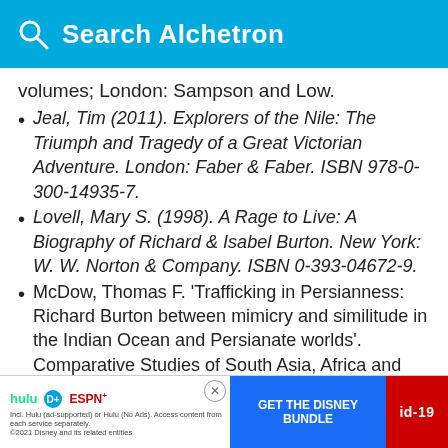Search Alchetron
volumes; London: Sampson and Low.
Jeal, Tim (2011). Explorers of the Nile: The Triumph and Tragedy of a Great Victorian Adventure. London: Faber & Faber. ISBN 978-0-300-14935-7.
Lovell, Mary S. (1998). A Rage to Live: A Biography of Richard & Isabel Burton. New York: W. W. Norton & Company. ISBN 0-393-04672-9.
McDow, Thomas F. 'Trafficking in Persianness: Richard Burton between mimicry and similitude in the Indian Ocean and Persianate worlds'. Comparative Studies of South Asia, Africa and the Middle … 201X
[Figure (infographic): Advertisement banner: GET THE DISNEY BUNDLE with Hulu, Disney+, ESPN+ logos. Ad-19 badge on right.]